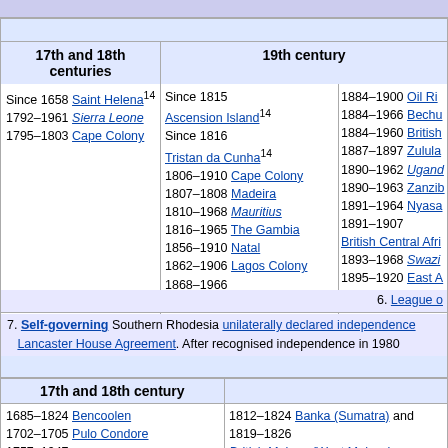| 17th and 18th centuries | 19th century |
| --- | --- |
| Since 1658 Saint Helena¹⁴
1792–1961 Sierra Leone
1795–1803 Cape Colony | Since 1815 Ascension Island¹⁴
Since 1816 Tristan da Cunha¹⁴
1806–1910 Cape Colony
1807–1808 Madeira
1810–1968 Mauritius
1816–1965 The Gambia
1856–1910 Natal
1862–1906 Lagos Colony
1868–1966 Basutoland (Lesotho)
1874–1957 Gold Coast (Ghana)
1882–1922 Egypt | 1884–1900 Oil Ri...
1884–1966 Bechu...
1884–1960 British...
1887–1897 Zulula...
1890–1962 Ugand...
1890–1963 Zanzib...
1891–1964 Nyasa...
1891–1907 British Central Afri...
1893–1968 Swazi...
1895–1920 East A...
1899–1956 Anglo-... |
6. League o...
7. Self-governing Southern Rhodesia unilaterally declared independence... Lancaster House Agreement. After recognised independence in 1980...
| 17th and 18th century |  |
| --- | --- |
| 1685–1824 Bencoolen
1702–1705 Pulo Condore
1757–1947
Bengal (West Bengal (India) and Bangladesh) | 1812–1824 Banka (Sumatra) and...
1819–1826
British Malaya (West Malaysia ar...
1826–1946 |